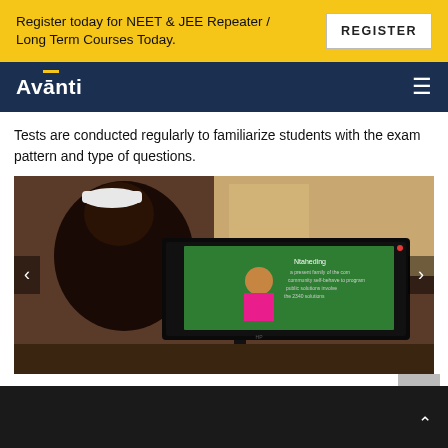Register today for NEET & JEE Repeater / Long Term Courses Today.
REGISTER
Avanti
Tests are conducted regularly to familiarize students with the exam pattern and type of questions.
[Figure (photo): A student wearing a white cap sits watching an online lecture on a monitor. The monitor screen shows a female teacher in a pink top against a green chalkboard with writing. The photo is displayed in a carousel with left and right arrow navigation.]